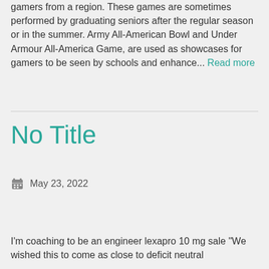gamers from a region. These games are sometimes performed by graduating seniors after the regular season or in the summer. Army All-American Bowl and Under Armour All-America Game, are used as showcases for gamers to be seen by schools and enhance... Read more
No Title
May 23, 2022
I'm coaching to be an engineer lexapro 10 mg sale "We wished this to come as close to deficit neutral